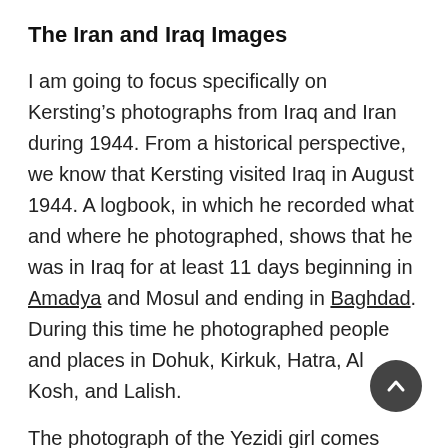The Iran and Iraq Images
I am going to focus specifically on Kersting’s photographs from Iraq and Iran during 1944. From a historical perspective, we know that Kersting visited Iraq in August 1944. A logbook, in which he recorded what and where he photographed, shows that he was in Iraq for at least 11 days beginning in Amadya and Mosul and ending in Baghdad. During this time he photographed people and places in Dohuk, Kirkuk, Hatra, Al Kosh, and Lalish.
The photograph of the Yezidi girl comes